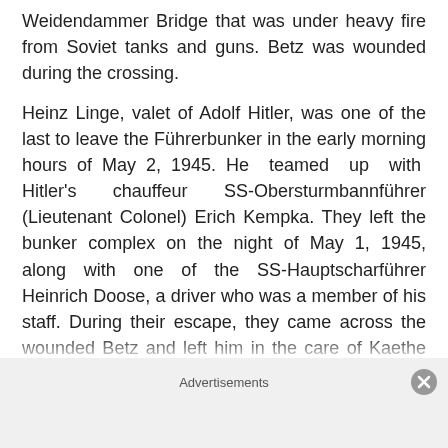Weidendammer Bridge that was under heavy fire from Soviet tanks and guns. Betz was wounded during the crossing.
Heinz Linge, valet of Adolf Hitler, was one of the last to leave the Führerbunker in the early morning hours of May 2, 1945. He teamed up with Hitler's chauffeur SS-Obersturmbannführer (Lieutenant Colonel) Erich Kempka. They left the bunker complex on the night of May 1, 1945, along with one of the SS-Hauptscharführer Heinrich Doose, a driver who was a member of his staff. During their escape, they came across the wounded Betz and left him in the care of Kaethe Hausermann, but Betz succumbed to his wounds the following day.
Linge got separated from Kempka and was captured near Seestraße station. Several days later, after his identity w...
Advertisements